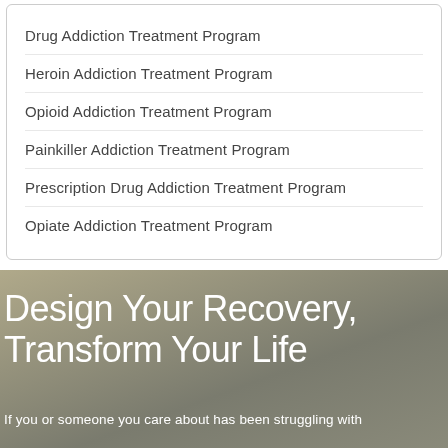Drug Addiction Treatment Program
Heroin Addiction Treatment Program
Opioid Addiction Treatment Program
Painkiller Addiction Treatment Program
Prescription Drug Addiction Treatment Program
Opiate Addiction Treatment Program
Design Your Recovery, Transform Your Life
If you or someone you care about has been struggling with